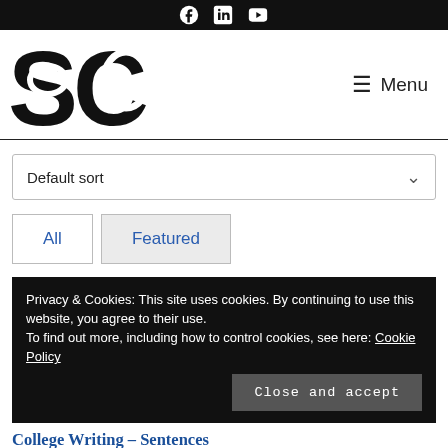Social media icons: Facebook, LinkedIn, YouTube
[Figure (logo): SC logo — large bold stylized letters S and C]
☰ Menu
[Figure (screenshot): Default sort dropdown selector with chevron]
All
Featured
Privacy & Cookies: This site uses cookies. By continuing to use this website, you agree to their use.
To find out more, including how to control cookies, see here: Cookie Policy
Close and accept
College Writing – Sentences